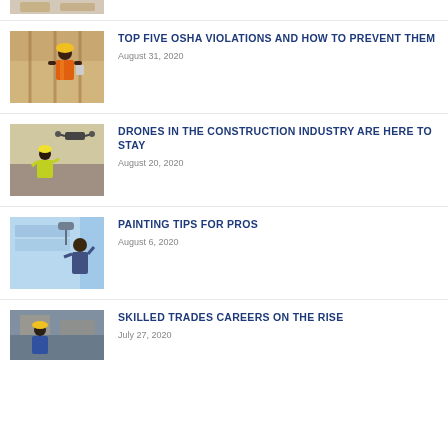[Figure (photo): Partial thumbnail of a construction worker at top of page]
TOP FIVE OSHA VIOLATIONS AND HOW TO PREVENT THEM
August 31, 2020
[Figure (photo): Construction worker with safety vest and drone in background]
DRONES IN THE CONSTRUCTION INDUSTRY ARE HERE TO STAY
August 20, 2020
[Figure (photo): Person painting a wall with a paint roller]
PAINTING TIPS FOR PROS
August 6, 2020
[Figure (photo): Skilled trades worker in hard hat at construction site]
SKILLED TRADES CAREERS ON THE RISE
July 27, 2020